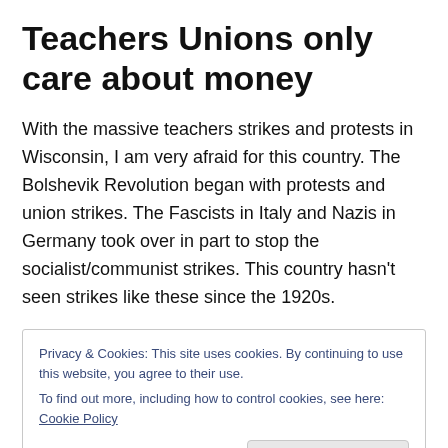Teachers Unions only care about money
With the massive teachers strikes and protests in Wisconsin, I am very afraid for this country. The Bolshevik Revolution began with protests and union strikes. The Fascists in Italy and Nazis in Germany took over in part to stop the socialist/communist strikes. This country hasn’t seen strikes like these since the 1920s.
Privacy & Cookies: This site uses cookies. By continuing to use this website, you agree to their use.
To find out more, including how to control cookies, see here: Cookie Policy